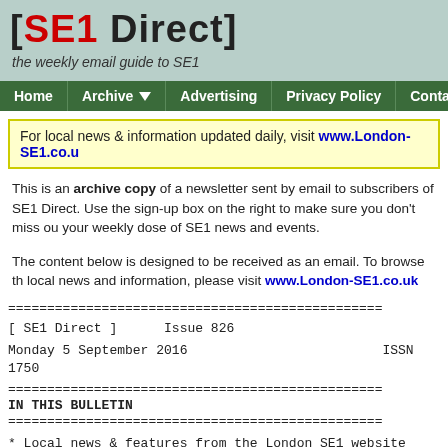[SE1 Direct]
the weekly email guide to SE1
Home | Archive | Advertising | Privacy Policy | Contact Us
For local news & information updated daily, visit www.London-SE1.co.uk
This is an archive copy of a newsletter sent by email to subscribers of SE1 Direct. Use the sign-up box on the right to make sure you don't miss out your weekly dose of SE1 news and events.
The content below is designed to be received as an email. To browse the local news and information, please visit www.London-SE1.co.uk
[ SE1 Direct ]      Issue 826
Monday 5 September 2016                          ISSN 1750
IN THIS BULLETIN
* Local news & features from the London SE1 website
* What's on this week
* Local job vacancies
* Small offices & desk spaces for rent
* Hotels/inns from the London SE1 Fo...